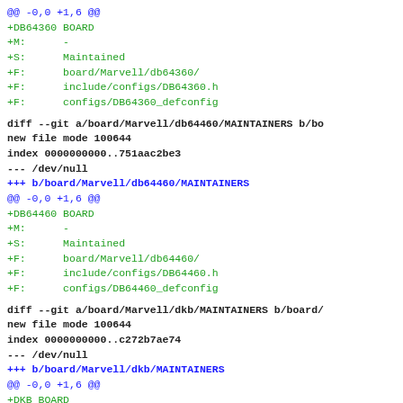@@ -0,0 +1,6 @@
+DB64360 BOARD
+M:      -
+S:      Maintained
+F:      board/Marvell/db64360/
+F:      include/configs/DB64360.h
+F:      configs/DB64360_defconfig
diff --git a/board/Marvell/db64460/MAINTAINERS b/bo
new file mode 100644
index 0000000000..751aac2be3
--- /dev/null
+++ b/board/Marvell/db64460/MAINTAINERS
@@ -0,0 +1,6 @@
+DB64460 BOARD
+M:      -
+S:      Maintained
+F:      board/Marvell/db64460/
+F:      include/configs/DB64460.h
+F:      configs/DB64460_defconfig
diff --git a/board/Marvell/dkb/MAINTAINERS b/board/
new file mode 100644
index 0000000000..c272b7ae74
--- /dev/null
+++ b/board/Marvell/dkb/MAINTAINERS
@@ -0,0 +1,6 @@
+DKB BOARD
+M:      Lei Wen <leiwen@marvell.com>
+S:      Maintained
+F:      board/Marvell/dkb/